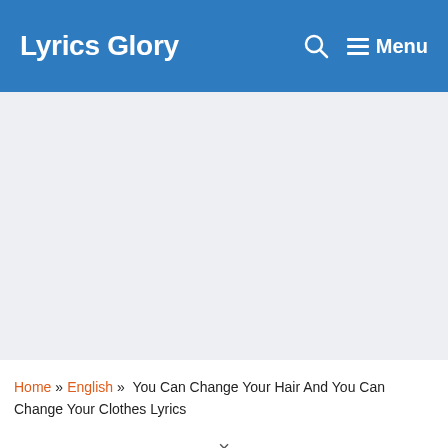Lyrics Glory  🔍  ☰ Menu
[Figure (other): Advertisement / empty gray banner area]
Home » English » You Can Change Your Hair And You Can Change Your Clothes Lyrics
×